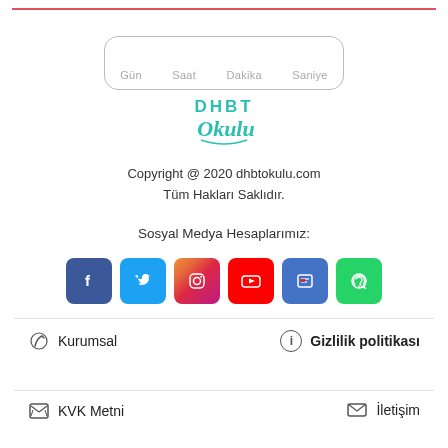[Figure (other): Countdown timer widget with four labeled fields: Gün, Saat, Dakika, Saniye inside a rounded rectangle]
[Figure (logo): DHBT Okulu logo in teal/green color with stylized script text]
Copyright @ 2020 dhbtokulu.com
Tüm Hakları Saklıdır.
Sosyal Medya Hesaplarımız:
[Figure (infographic): Row of six social media icons: Facebook (blue), Twitter (light blue), Instagram (gradient), YouTube (red), Google News (blue), WhatsApp (green)]
Kurumsal
Gizlilik politikası
KVK Metni
İletişim